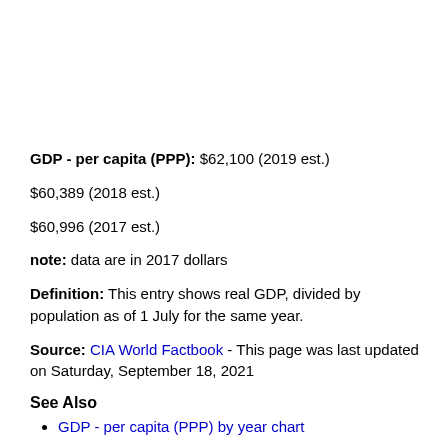GDP - per capita (PPP): $62,100 (2019 est.)
$60,389 (2018 est.)
$60,996 (2017 est.)
note: data are in 2017 dollars
Definition: This entry shows real GDP, divided by population as of 1 July for the same year.
Source: CIA World Factbook - This page was last updated on Saturday, September 18, 2021
See Also
GDP - per capita (PPP) by year chart